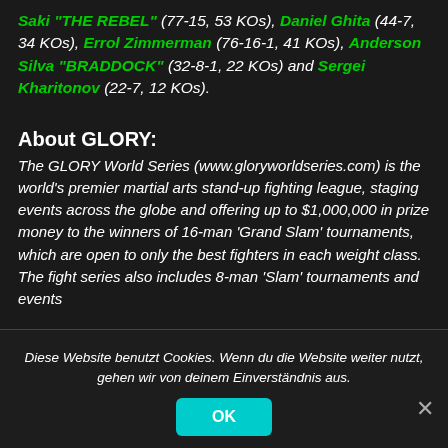Saki "THE REBEL" (77-15, 53 KOs), Daniel Ghita (44-7, 34 KOs), Errol Zimmerman (76-16-1, 41 KOs), Anderson Silva "BRADDOCK" (32-8-1, 22 KOs) and Sergei Kharitonov (22-7, 12 KOs).
About GLORY:
The GLORY World Series (www.gloryworldseries.com) is the world's premier martial arts stand-up fighting league, staging events across the globe and offering up to $1,000,000 in prize money to the winners of 16-man 'Grand Slam' tournaments, which are open to only the best fighters in each weight class. The fight series also includes 8-man 'Slam' tournaments and events
Diese Website benutzt Cookies. Wenn du die Website weiter nutzt, gehen wir von deinem Einverständnis aus.